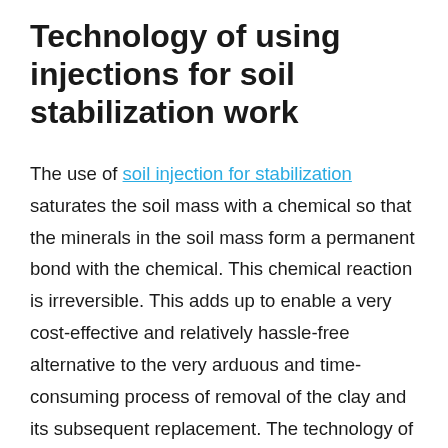Technology of using injections for soil stabilization work
The use of soil injection for stabilization saturates the soil mass with a chemical so that the minerals in the soil mass form a permanent bond with the chemical. This chemical reaction is irreversible. This adds up to enable a very cost-effective and relatively hassle-free alternative to the very arduous and time-consuming process of removal of the clay and its subsequent replacement. The technology of soil injection for stabilization entails the use of various materials like expandable polyurethane resin, potassium ions, etc.